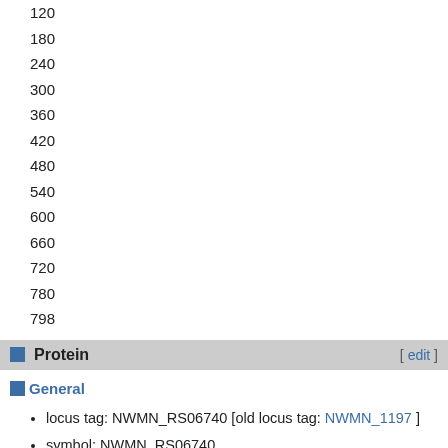120
180
240
300
360
420
480
540
600
660
720
780
798
Protein
General
locus tag: NWMN_RS06740 [old locus tag: NWMN_1197 ]
symbol: NWMN_RS06740
description: metallophosphoesterase
length: 265
theoretical pI: 6.61158
theoretical MW: 29875